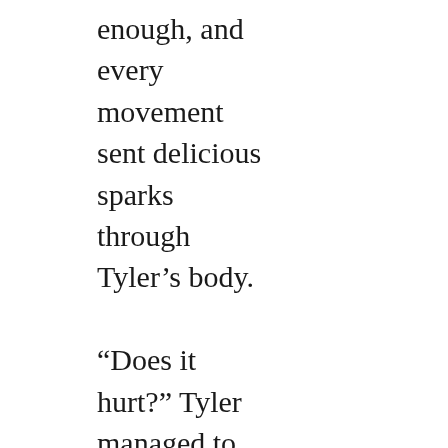enough, and every movement sent delicious sparks through Tyler’s body.

“Does it hurt?” Tyler managed to ask, because he had to.

Mikhail